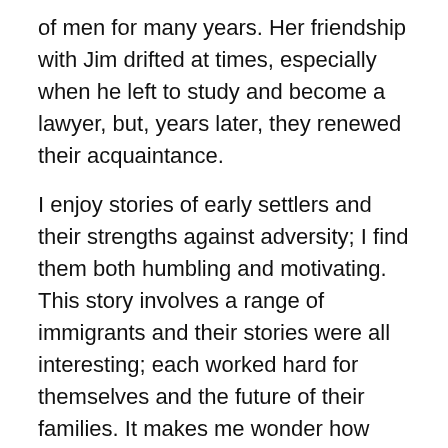of men for many years. Her friendship with Jim drifted at times, especially when he left to study and become a lawyer, but, years later, they renewed their acquaintance.
I enjoy stories of early settlers and their strengths against adversity; I find them both humbling and motivating. This story involves a range of immigrants and their stories were all interesting; each worked hard for themselves and the future of their families. It makes me wonder how much the next generation and the ones after that really appreciated the hardships of their forefathers.
First published in 1918, this is a snapshot of a long past era. Even during the telling of this story change happened and progress marched confidently forward. Ideal for anyone, like me, who enjoys dipping back in history and losing themselves for a few hours of reading.